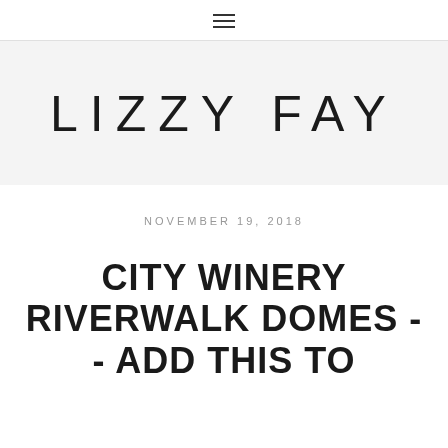≡
LIZZY FAY
NOVEMBER 19, 2018
CITY WINERY RIVERWALK DOMES -- ADD THIS TO